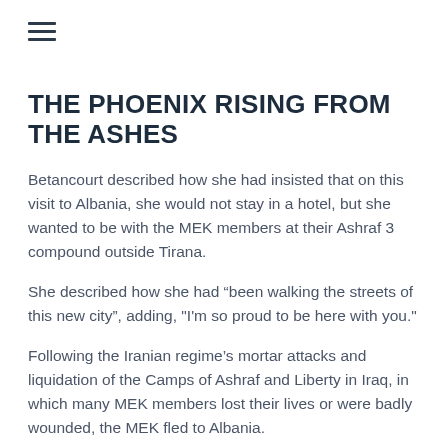THE PHOENIX RISING FROM THE ASHES
Betancourt described how she had insisted that on this visit to Albania, she would not stay in a hotel, but she wanted to be with the MEK members at their Ashraf 3 compound outside Tirana.
She described how she had “been walking the streets of this new city”, adding, "I'm so proud to be here with you."
Following the Iranian regime’s mortar attacks and liquidation of the Camps of Ashraf and Liberty in Iraq, in which many MEK members lost their lives or were badly wounded, the MEK fled to Albania.